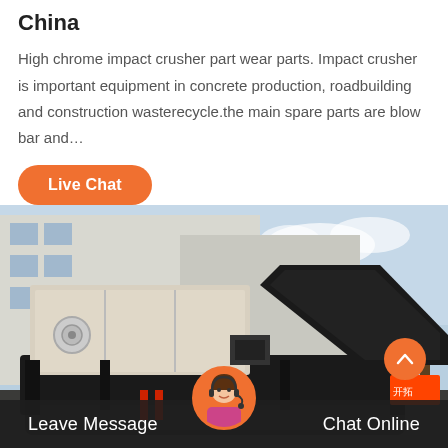China
High chrome impact crusher part wear parts. Impact crusher is important equipment in concrete production, roadbuilding and construction wasterecycle.the main spare parts are blow bar and…
Live Chat
[Figure (photo): Industrial impact crusher machine photographed outdoors in front of a factory building. The machine is large, dark/black colored with white hopper sections. Sky and trees visible in background.]
Leave Message
Chat Online